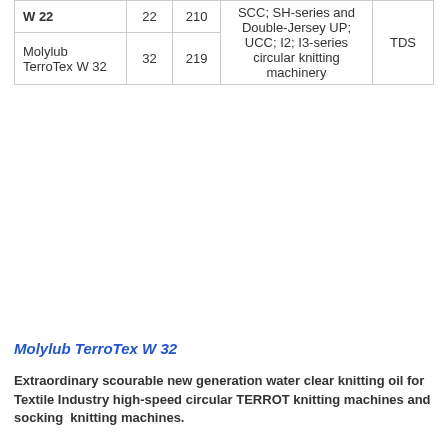| W 22 | 22 | 210 | SCC; SH-series and Double-Jersey UP; UCC; I2; I3-series circular knitting machinery | TDS |
| Molylub TerroTex W 32 | 32 | 219 |  |  |
Molylub TerroTex W 32
Extraordinary scourable new generation water clear knitting oil for Textile Industry high-speed circular TERROT knitting machines and socking  knitting machines.
Application:
Terrot high speed, large and small diameter circular electronically or mechanically controlled Single- and Double-Jersey knitting machines,